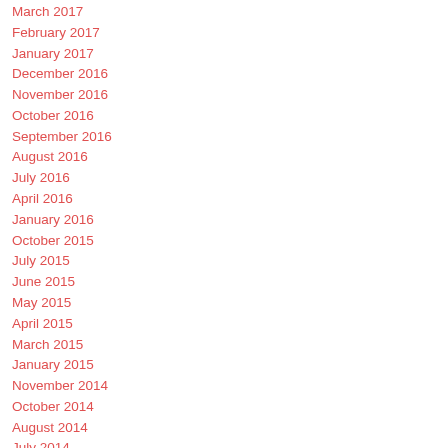March 2017
February 2017
January 2017
December 2016
November 2016
October 2016
September 2016
August 2016
July 2016
April 2016
January 2016
October 2015
July 2015
June 2015
May 2015
April 2015
March 2015
January 2015
November 2014
October 2014
August 2014
July 2014